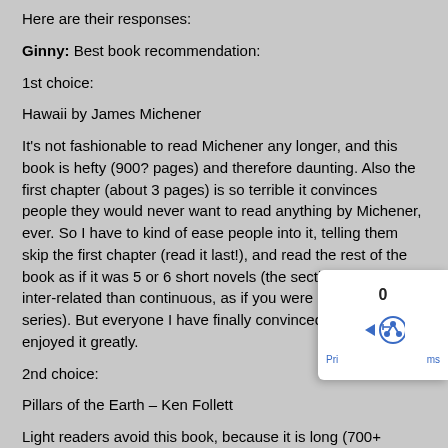Here are their responses:
Ginny: Best book recommendation:
1st choice:
Hawaii by James Michener
It's not fashionable to read Michener any longer, and this book is hefty (900? pages) and therefore daunting. Also the first chapter (about 3 pages) is so terrible it convinces people they would never want to read anything by Michener, ever. So I have to kind of ease people into it, telling them skip the first chapter (read it last!), and read the rest of the book as if it was 5 or 6 short novels (the sections are more inter-related than continuous, as if you were reading a series). But everyone I have finally convinced to read Hawaii enjoyed it greatly.
2nd choice:
Pillars of the Earth – Ken Follett
Light readers avoid this book, because it is long (700+ pages), and also because it's by Ken Follett (whom they think of as